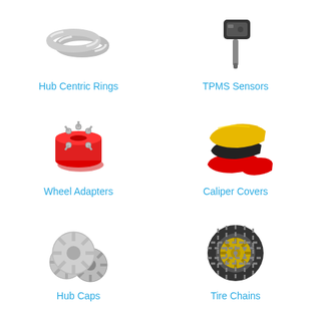[Figure (illustration): Hub centric rings - two silver metallic rings]
Hub Centric Rings
[Figure (illustration): TPMS sensor - black electronic valve stem sensor]
TPMS Sensors
[Figure (illustration): Wheel adapters - red anodized wheel spacers with bolts]
Wheel Adapters
[Figure (illustration): Caliper covers - yellow, black, and red brake caliper covers]
Caliper Covers
[Figure (illustration): Hub caps - set of four silver hub caps]
Hub Caps
[Figure (illustration): Tire chains - snow chains on a tire]
Tire Chains